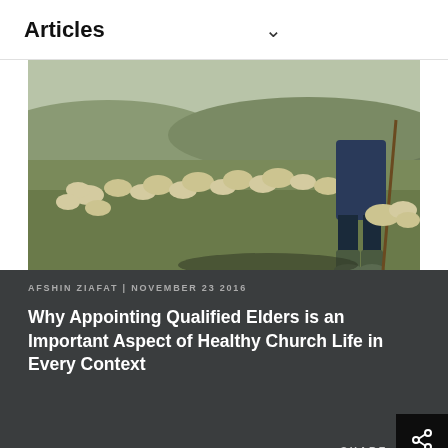Articles
[Figure (photo): A shepherd standing in a field with a flock of sheep grazing in the background. The shepherd is seen from behind/side, wearing dark clothing and boots, holding a walking staff. The scene is in a green meadow with hills in the distance.]
AFSHIN ZIAFAT | NOVEMBER 23 2016
Why Appointing Qualified Elders is an Important Aspect of Healthy Church Life in Every Context
SHARE
[Figure (photo): Bottom portion of a second article card showing what appears to be a wooden surface or furniture, partially visible.]